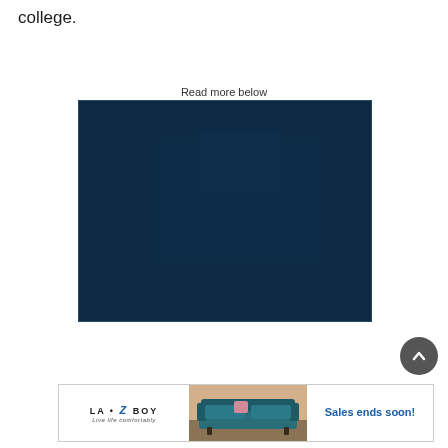college.
Read more below
[Figure (photo): Dark navy blue rectangular image, possibly a photo with very dark exposure making details nearly invisible.]
[Figure (photo): Advertisement banner for La-Z-Boy featuring a teal sofa/loveseat with text 'Sales ends soon!' in blue on the right side and the La-Z-Boy logo on the left.]